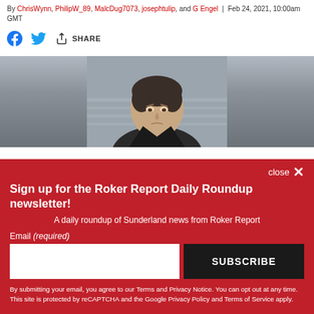By ChrisWynn, PhilipW_89, MalcDug7073, josephtulip, and G Engel | Feb 24, 2021, 10:00am GMT
f [facebook] [twitter] [share arrow] SHARE
[Figure (photo): Close-up photo of a man with short dark hair, looking downward, against a blurred stadium background]
close ×
Sign up for the Roker Report Daily Roundup newsletter!
A daily roundup of Sunderland news from Roker Report
Email (required)
SUBSCRIBE
By submitting your email, you agree to our Terms and Privacy Notice. You can opt out at any time. This site is protected by reCAPTCHA and the Google Privacy Policy and Terms of Service apply.